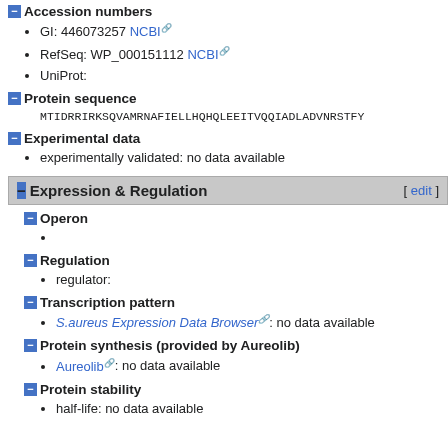Accession numbers
GI: 446073257 NCBI
RefSeq: WP_000151112 NCBI
UniProt:
Protein sequence
MTIDRRIRKSQVAMRNAFIELLHQHQLEEITVQQIADLADVNRSTFY
Experimental data
experimentally validated: no data available
Expression & Regulation
Operon
Regulation
regulator:
Transcription pattern
S.aureus Expression Data Browser: no data available
Protein synthesis (provided by Aureolib)
Aureolib: no data available
Protein stability
half-life: no data available